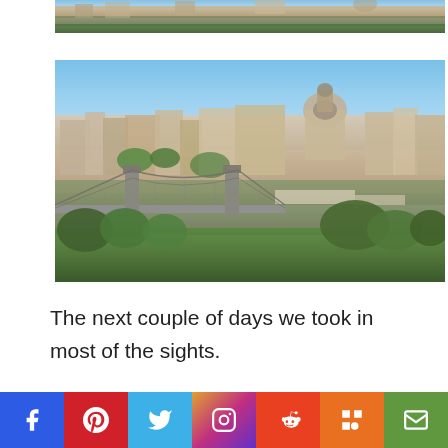[Figure (photo): Partial aerial view of Budapest with river and city buildings visible at top of page]
[Figure (photo): Aerial view of Budapest showing the Chain Bridge over the Danube River with the city skyline including a large domed cathedral in the background, green trees in the foreground]
The next couple of days we took in most of the sights.
[Figure (infographic): Social media sharing bar with Facebook, Pinterest, Twitter, Instagram, Reddit, Mix, and Email buttons]